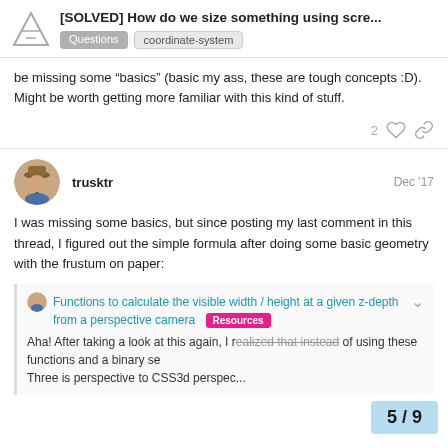[SOLVED] How do we size something using scre...
be missing some “basics” (basic my ass, these are tough concepts :D). Might be worth getting more familiar with this kind of stuff.
trusktr  Dec ’17
I was missing some basics, but since posting my last comment in this thread, I figured out the simple formula after doing some basic geometry with the frustum on paper:
Functions to calculate the visible width / height at a given z-depth from a perspective camera  Resources
Aha! After taking a look at this again, I realized that instead of using these functions and a binary se... Three is perspective to CSS3d perspec...